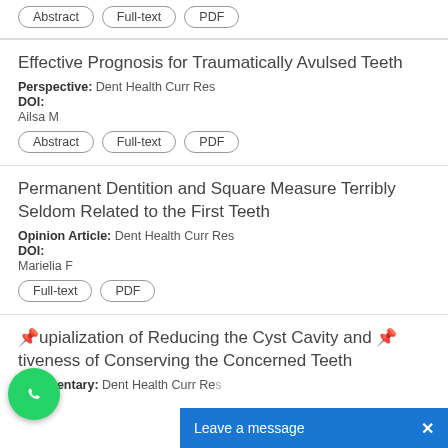Abstract | Full-text | PDF (partial, top)
Effective Prognosis for Traumatically Avulsed Teeth
Perspective: Dent Health Curr Res
DOI:
Ailsa M
Abstract | Full-text | PDF
Permanent Dentition and Square Measure Terribly Seldom Related to the First Teeth
Opinion Article: Dent Health Curr Res
DOI:
Marielia F
Full-text | PDF
...upialization of Reducing the Cyst Cavity and ...tiveness of Conserving the Concerned Teeth
Commentary: Dent Health Curr Res
DOI: